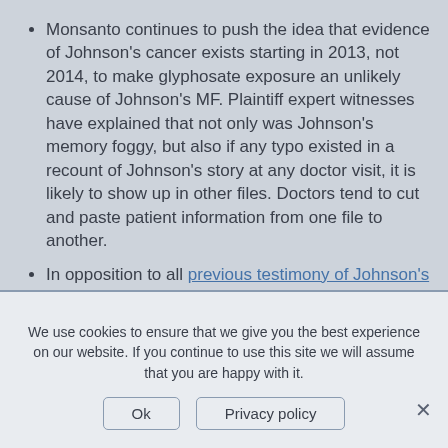Monsanto continues to push the idea that evidence of Johnson's cancer exists starting in 2013, not 2014, to make glyphosate exposure an unlikely cause of Johnson's MF. Plaintiff expert witnesses have explained that not only was Johnson's memory foggy, but also if any typo existed in a recount of Johnson's story at any doctor visit, it is likely to show up in other files. Doctors tend to cut and paste patient information from one file to another.
In opposition to all previous testimony of Johnson's dermatologist Dr. Ofodile, Kuzel does not think that Johnson's squamous cell carcinoma was from the intense UVB therapy used to treat
We use cookies to ensure that we give you the best experience on our website. If you continue to use this site we will assume that you are happy with it.